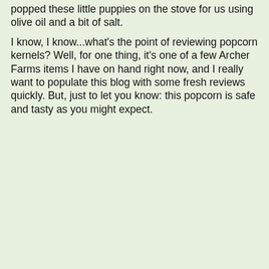popped these little puppies on the stove for us using olive oil and a bit of salt.
I know, I know...what's the point of reviewing popcorn kernels? Well, for one thing, it's one of a few Archer Farms items I have on hand right now, and I really want to populate this blog with some fresh reviews quickly. But, just to let you know: this popcorn is safe and tasty as you might expect.
[Figure (photo): Nutrition Facts label for Archer Farms popcorn kernels. Serving Size 2 Tbsp (27g) (makes 4 cups popped), Servings Per Container about 17. Calories 70, Calories from Fat 10. Total Fat 1g 2%, Sodium 0mg 0%, Total Carbohydrate 20g 7%, Dietary Fiber 3g 12%, Protein 3g. Iron 4%. Not a significant source of saturated fat, trans fat, cholesterol, sugars, vitamin A, vitamin C and calcium. Percent Daily Values are based on a 2,000 calorie diet.]